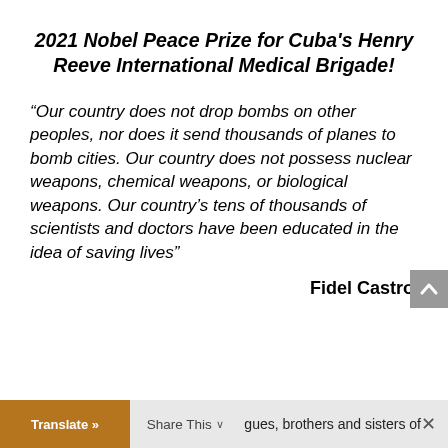2021 Nobel Peace Prize for Cuba's Henry Reeve International Medical Brigade!
“Our country does not drop bombs on other peoples, nor does it send thousands of planes to bomb cities. Our country does not possess nuclear weapons, chemical weapons, or biological weapons. Our country’s tens of thousands of scientists and doctors have been educated in the idea of saving lives”
Fidel Castro
Translate » | Share This ∨ | …gues, brothers and sisters of | ×